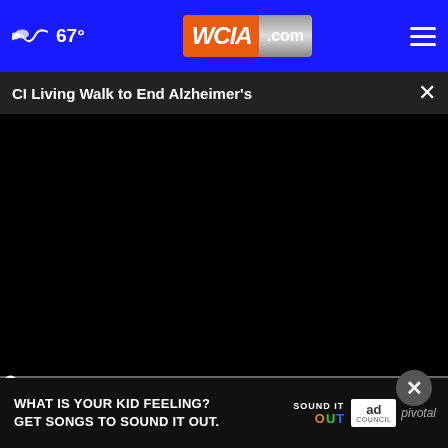67° WCIA.com
CI Living Walk to End Alzheimer's
[Figure (screenshot): Black video player area showing no content loaded]
00:00
Look)
Plaque Psoriasis
[Figure (photo): Ad banner: WHAT IS YOUR KID FEELING? GET SONGS TO SOUND IT OUT. Sound It Out / Ad Council / pivotal]